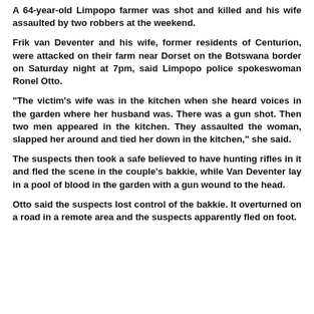A 64-year-old Limpopo farmer was shot and killed and his wife assaulted by two robbers at the weekend.
Frik van Deventer and his wife, former residents of Centurion, were attacked on their farm near Dorset on the Botswana border on Saturday night at 7pm, said Limpopo police spokeswoman Ronel Otto.
"The victim's wife was in the kitchen when she heard voices in the garden where her husband was. There was a gun shot. Then two men appeared in the kitchen. They assaulted the woman, slapped her around and tied her down in the kitchen," she said.
The suspects then took a safe believed to have hunting rifles in it and fled the scene in the couple's bakkie, while Van Deventer lay in a pool of blood in the garden with a gun wound to the head.
Otto said the suspects lost control of the bakkie. It overturned on a road in a remote area and the suspects apparently fled on foot.